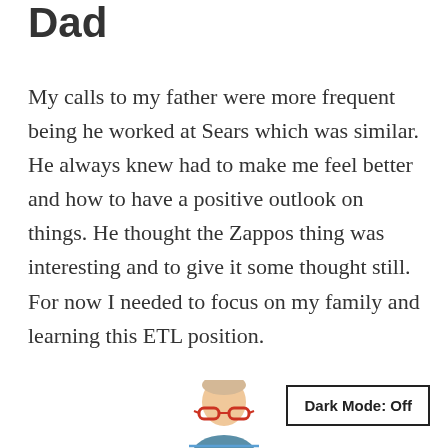Dad
My calls to my father were more frequent being he worked at Sears which was similar. He always knew had to make me feel better and how to have a positive outlook on things. He thought the Zappos thing was interesting and to give it some thought still. For now I needed to focus on my family and learning this ETL position.
[Figure (photo): Partial photo of a person with grey/blonde hair and red glasses visible at the bottom of the page]
Dark Mode: Off